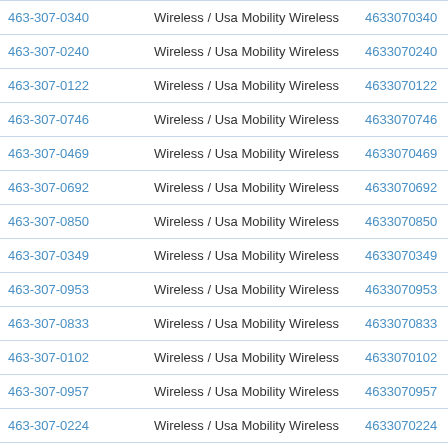| Phone | Type | Number | Action |
| --- | --- | --- | --- |
| 463-307-0340 | Wireless / Usa Mobility Wireless | 4633070340 | Vie |
| 463-307-0240 | Wireless / Usa Mobility Wireless | 4633070240 | Vie |
| 463-307-0122 | Wireless / Usa Mobility Wireless | 4633070122 | Vie |
| 463-307-0746 | Wireless / Usa Mobility Wireless | 4633070746 | Vie |
| 463-307-0469 | Wireless / Usa Mobility Wireless | 4633070469 | Vie |
| 463-307-0692 | Wireless / Usa Mobility Wireless | 4633070692 | Vie |
| 463-307-0850 | Wireless / Usa Mobility Wireless | 4633070850 | Vie |
| 463-307-0349 | Wireless / Usa Mobility Wireless | 4633070349 | Vie |
| 463-307-0953 | Wireless / Usa Mobility Wireless | 4633070953 | Vie |
| 463-307-0833 | Wireless / Usa Mobility Wireless | 4633070833 | Vie |
| 463-307-0102 | Wireless / Usa Mobility Wireless | 4633070102 | Vie |
| 463-307-0957 | Wireless / Usa Mobility Wireless | 4633070957 | Vie |
| 463-307-0224 | Wireless / Usa Mobility Wireless | 4633070224 | Vie |
| 463-307-0511 | Wireless / Usa Mobility Wireless | 4633070511 | Vie |
| 463-307-0814 | Wireless / Usa Mobility Wireless | 4633070814 | Vie |
| 463-307-0866 | Wireless / Usa Mobility Wireless | 4633070866 | Vie |
| 463-307-0561 | Wireless / Usa Mobility Wireless | 4633070561 | Vie |
| 463-307-0193 | Wireless / Usa Mobility Wireless | 4633070193 | Vie |
| 463-307-0926 | Wireless / Usa Mobility Wireless | 4633070926 | Vie |